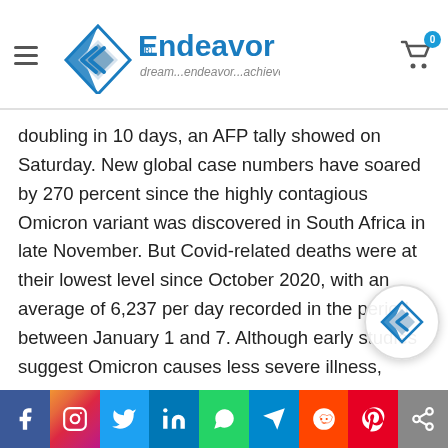Endeavor — dream...endeavor...achieve
doubling in 10 days, an AFP tally showed on Saturday. New global case numbers have soared by 270 percent since the highly contagious Omicron variant was discovered in South Africa in late November. But Covid-related deaths were at their lowest level since October 2020, with an average of 6,237 per day recorded in the period between January 1 and 7. Although early studies suggest Omicron causes less severe illness, experts have warned the sheer volume of cases fuelled by the strain could still overwhelm health systems. Europe, as well as the United States and Canada, are the world's infection hotspots. The two regions respectively represented 49 percent and 33 percent of global Covid cases in the past week. Covid cases skyrocketed by 47 perc... Europe and 76 percent in the United States and Can...
Facebook | Instagram | Twitter | LinkedIn | WhatsApp | Telegram | Reddit | Pinterest | Share